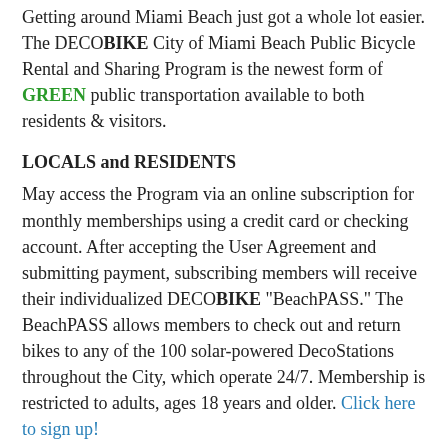Getting around Miami Beach just got a whole lot easier. The DECOBIKE City of Miami Beach Public Bicycle Rental and Sharing Program is the newest form of GREEN public transportation available to both residents & visitors.
LOCALS and RESIDENTS
May access the Program via an online subscription for monthly memberships using a credit card or checking account. After accepting the User Agreement and submitting payment, subscribing members will receive their individualized DECOBIKE "BeachPASS." The BeachPASS allows members to check out and return bikes to any of the 100 solar-powered DecoStations throughout the City, which operate 24/7. Membership is restricted to adults, ages 18 years and older. Click here to sign up!
VISITORS TO MIAMI BEACH
May access the system with a major credit card. Simply approach any station, swipe your card and select a bike. You will also be required to accept the User Agreement as well as authorizing a deposit to ensure the bike's return (each bike is